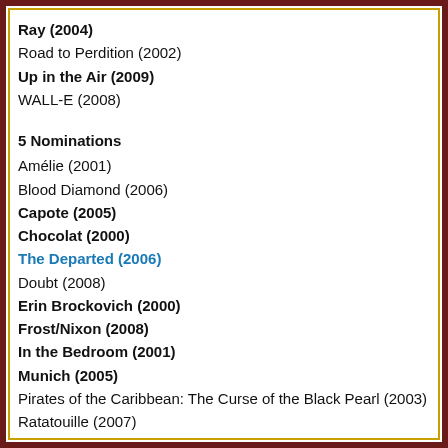Ray (2004)
Road to Perdition (2002)
Up in the Air (2009)
WALL-E (2008)
5 Nominations
Amélie (2001)
Blood Diamond (2006)
Capote (2005)
Chocolat (2000)
The Departed (2006)
Doubt (2008)
Erin Brockovich (2000)
Frost/Nixon (2008)
In the Bedroom (2001)
Munich (2005)
Pirates of the Caribbean: The Curse of the Black Pearl (2003)
Ratatouille (2007)
The Reader (2008)
Sideways (2004)
Traffic (2000)
Up (2009)
Walk the Line (2005)